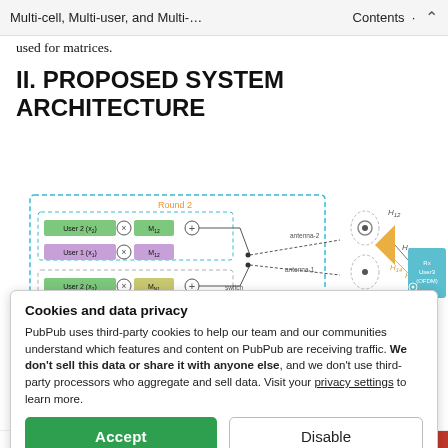Multi-cell, Multi-user, and Multi-… Contents ▲
used for matrices.
II. PROPOSED SYSTEM ARCHITECTURE
[Figure (schematic): System architecture diagram showing Round 2 block with User 2 (x2), User 1 (x1), multipliers and adders, antenna-1 and antenna-2 connections through a switch, channel coefficients H11, H12, H13, H14, H15, and Rx User 3 (OFDM) receiver block. Also shows Round 1 partially visible at bottom.]
Cookies and data privacy
PubPub uses third-party cookies to help our team and our communities understand which features and content on PubPub are receiving traffic. We don't sell this data or share it with anyone else, and we don't use third-party processors who aggregate and sell data. Visit your privacy settings to learn more.
Accept
Disable
Round 1